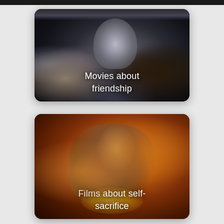[Figure (photo): Movie still from Isle of Dogs showing animated dogs crowded together in a dark indoor setting, with a white/grey dog prominent in the center. Text overlay reads 'Movies about friendship'.]
[Figure (photo): Movie still showing two figures (Beauty and Beast) embracing in a golden, warm-lit fantasy setting with ornate golden background. Text overlay reads 'Films about self-sacrifice'.]